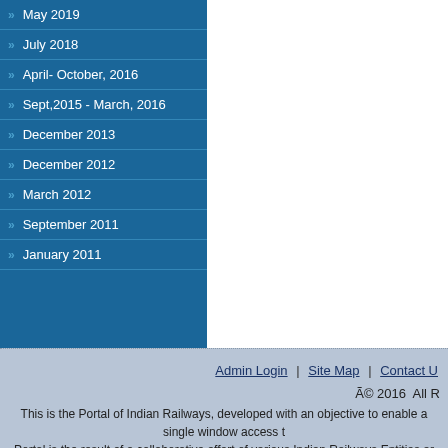May 2019
July 2018
April- October, 2016
Sept,2015 - March, 2016
December 2013
December 2012
March 2012
September 2011
January 2011
Admin Login | Site Map | Contact U… © 2016 All R… This is the Portal of Indian Railways, developed with an objective to enable a single window access t… Portal is the result of a collaborative effort of various Indian Railways Entities ar…